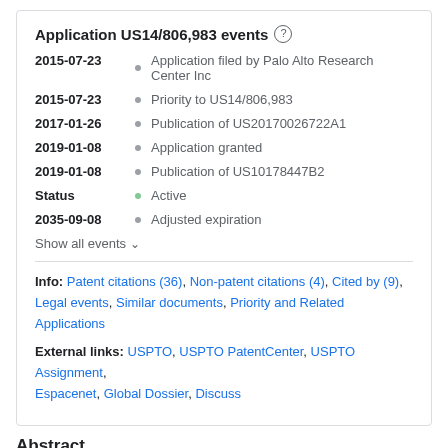Application US14/806,983 events
2015-07-23 • Application filed by Palo Alto Research Center Inc
2015-07-23 • Priority to US14/806,983
2017-01-26 • Publication of US20170026722A1
2019-01-08 • Application granted
2019-01-08 • Publication of US10178447B2
Status • Active
2035-09-08 • Adjusted expiration
Show all events ∨
Info: Patent citations (36), Non-patent citations (4), Cited by (9), Legal events, Similar documents, Priority and Related Applications
External links: USPTO, USPTO PatentCenter, USPTO Assignment, Espacenet, Global Dossier, Discuss
Abstract